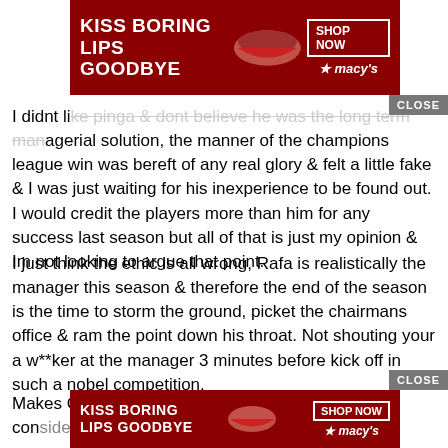[Figure (other): Macy's advertisement banner - KISS BORING LIPS GOODBYE with SHOP NOW button, partially overlaying page content]
I didnt like pinga & dont believe he was the long term managerial solution, the manner of the champions league win was bereft of any real glory & felt a little fake & I was just waiting for his inexperience to be found out. I would credit the players more than him for any success last season but all of that is just my opinion & Im not looking to argue that point.
I just think the ethic is all wrong, Rafa is realistically the manager this season & therefore the end of the season is the time to storm the ground, picket the chairmans office & ram the point down his throat. Not shouting your a w**ker at the manager 3 minutes before kick off in such a nobel competition.
Makes Chelsea fans look stupid imo, especially considering the fact that...ar.
[Figure (other): Macy's advertisement banner - KISS BORING LIPS GOODBYE with SHOP NOW button at bottom of page]